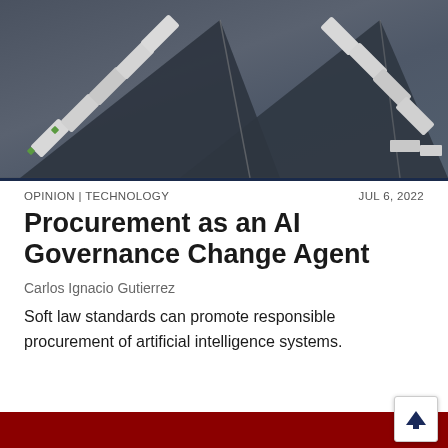[Figure (photo): Aerial view of trucks and semi-trailers arranged around triangular/chevron shapes on a dark surface, photographed from above.]
OPINION | TECHNOLOGY    JUL 6, 2022
Procurement as an AI Governance Change Agent
Carlos Ignacio Gutierrez
Soft law standards can promote responsible procurement of artificial intelligence systems.